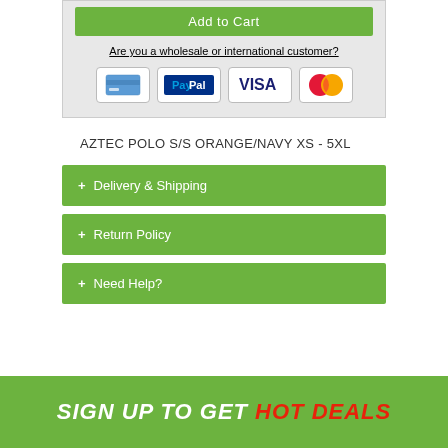[Figure (screenshot): Add to Cart button in green]
Are you a wholesale or international customer?
[Figure (infographic): Payment icons: credit card, PayPal, Visa, Mastercard]
AZTEC POLO S/S ORANGE/NAVY XS - 5XL
+ Delivery & Shipping
+ Return Policy
+ Need Help?
SIGN UP TO GET HOT DEALS